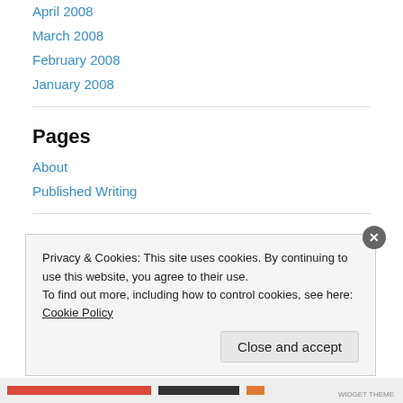April 2008
March 2008
February 2008
January 2008
Pages
About
Published Writing
Recent Comments
Privacy & Cookies: This site uses cookies. By continuing to use this website, you agree to their use.
To find out more, including how to control cookies, see here: Cookie Policy
Close and accept